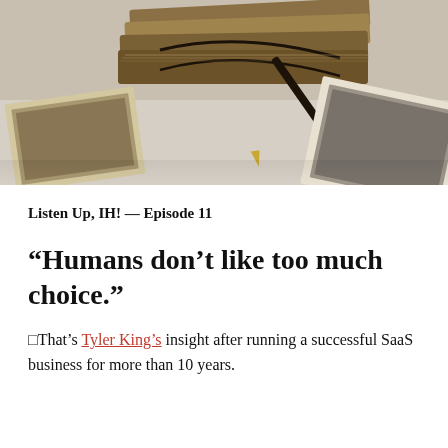[Figure (photo): Overhead photo of stacked vintage journals/notebooks tied with string, a fountain pen, old photographs, and a framed picture on a light surface — warm sepia and brown tones.]
Listen Up, IH! — Episode 11
“Humans don’t like too much choice.”
□That’s Tyler King’s insight after running a successful SaaS business for more than 10 years.